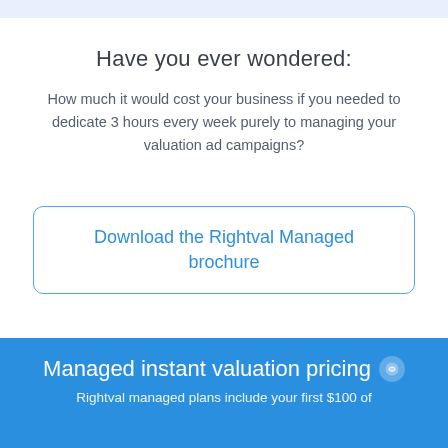Have you ever wondered:
How much it would cost your business if you needed to dedicate 3 hours every week purely to managing your valuation ad campaigns?
Download the Rightval Managed brochure
Managed instant valuation pricing
Rightval managed plans include your first $100 of